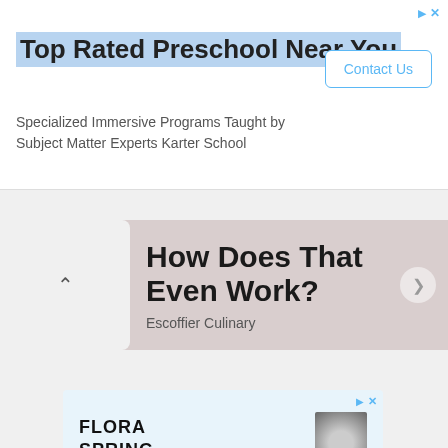[Figure (screenshot): Top advertisement banner for 'Top Rated Preschool Near You' by Karter School with Contact Us button]
[Figure (screenshot): Content card showing 'How Does That Even Work?' article from Escoffier Culinary with navigation arrows]
[Figure (screenshot): Bottom advertisement for Flora Spring showing 'Look Great' text in teal on light blue background]